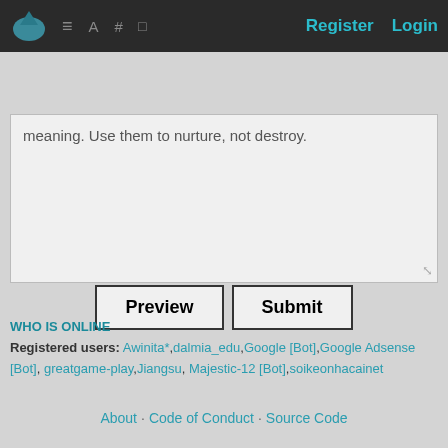Register  Login
meaning.  Use them to nurture, not destroy.
Preview  Submit
WHO IS ONLINE
Registered users: Awinita*, dalmia_edu, Google [Bot], Google Adsense [Bot], greatgame-play, Jiangsu, Majestic-12 [Bot], soikeonhacainet
About · Code of Conduct · Source Code